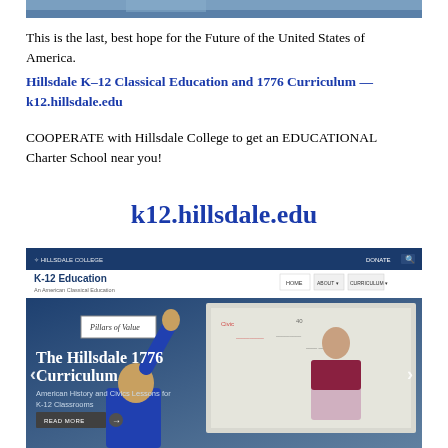[Figure (screenshot): Top portion of a classroom photo visible at the very top of the page]
This is the last, best hope for the Future of the United States of America.
Hillsdale K-12 Classical Education and 1776 Curriculum — k12.hillsdale.edu
COOPERATE with Hillsdale College to get an EDUCATIONAL Charter School near you!
k12.hillsdale.edu
[Figure (screenshot): Screenshot of the Hillsdale College K-12 Education website showing the 1776 Curriculum page with a classroom photo of a teacher at a whiteboard and students raising hands]